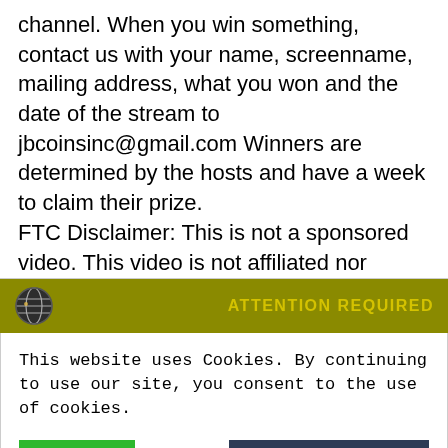channel. When you win something, contact us with your name, screenname, mailing address, what you won and the date of the stream to jbcoinsinc@gmail.com Winners are determined by the hosts and have a week to claim their prize.
FTC Disclaimer: This is not a sponsored video. This video is not affiliated nor endorsed by YouTube. YouTube is not a sponsor of this Giveaway. By entering this Giveaway, you release YouTube from any and all liability related to this Giveaway. All items in our giveaways were either purchased by us or given to us to be used in said
[Figure (screenshot): Cookie consent banner with olive/yellow header showing globe icon and 'ATTENTION REQUIRED' text, white body with cookie notice text, and two buttons: green 'Accept' and dark blue 'Privacy Center']
party nor used for any other purpose. Giveaways are void